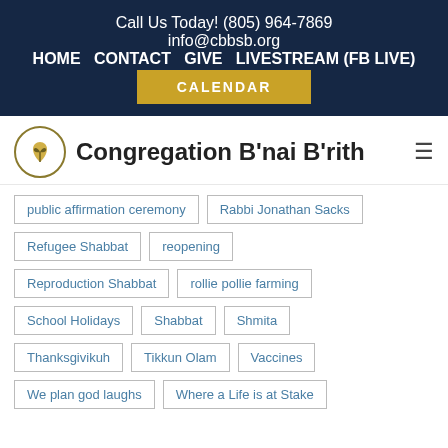Call Us Today! (805) 964-7869
info@cbbsb.org
HOME  CONTACT  GIVE  LIVESTREAM (FB LIVE)
CALENDAR
Congregation B'nai B'rith
public affirmation ceremony
Rabbi Jonathan Sacks
Refugee Shabbat
reopening
Reproduction Shabbat
rollie pollie farming
School Holidays
Shabbat
Shmita
Thanksgivikuh
Tikkun Olam
Vaccines
We plan god laughs
Where a Life is at Stake